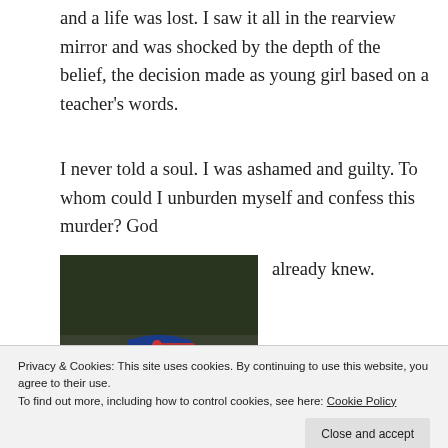and a life was lost. I saw it all in the rearview mirror and was shocked by the depth of the belief, the decision made as young girl based on a teacher’s words.
I never told a soul. I was ashamed and guilty. To whom could I unburden myself and confess this murder? God already knew.
[Figure (photo): A young boy wearing a blue cap and blue shirt, raising his hand near his face, photographed outdoors.]
You know what I know now? Whether there is or isn’t a god doesn’t matter—children are
will grow into good and loving adults.
Privacy & Cookies: This site uses cookies. By continuing to use this website, you agree to their use.
To find out more, including how to control cookies, see here: Cookie Policy
Close and accept